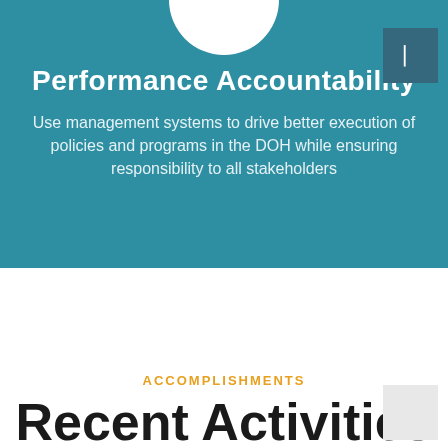Performance Accountability
Use management systems to drive better execution of policies and programs in the DOH while ensuring responsibility to all stakeholders
ACCOMPLISHMENTS
Recent Activities